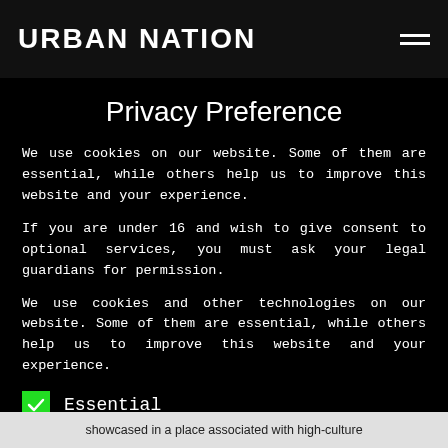URBAN NATION
Privacy Preference
We use cookies on our website. Some of them are essential, while others help us to improve this website and your experience.
If you are under 16 and wish to give consent to optional services, you must ask your legal guardians for permission.
We use cookies and other technologies on our website. Some of them are essential, while others help us to improve this website and your experience.
Essential
Statistics
showcased in a place associated with high-culture